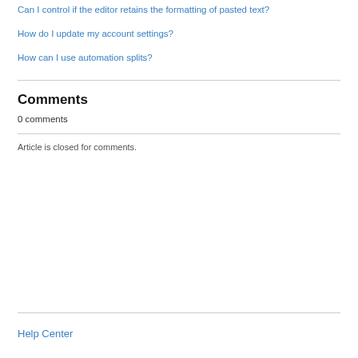Can I control if the editor retains the formatting of pasted text?
How do I update my account settings?
How can I use automation splits?
Comments
0 comments
Article is closed for comments.
Help Center